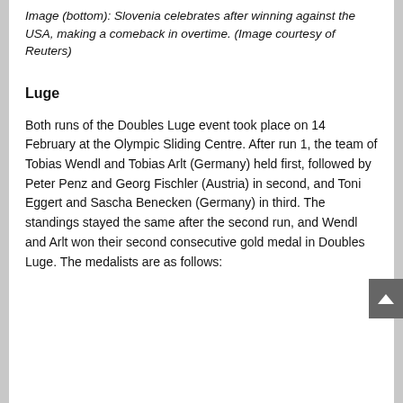Image (bottom): Slovenia celebrates after winning against the USA, making a comeback in overtime. (Image courtesy of Reuters)
Luge
Both runs of the Doubles Luge event took place on 14 February at the Olympic Sliding Centre. After run 1, the team of Tobias Wendl and Tobias Arlt (Germany) held first, followed by Peter Penz and Georg Fischler (Austria) in second, and Toni Eggert and Sascha Benecken (Germany) in third. The standings stayed the same after the second run, and Wendl and Arlt won their second consecutive gold medal in Doubles Luge. The medalists are as follows: